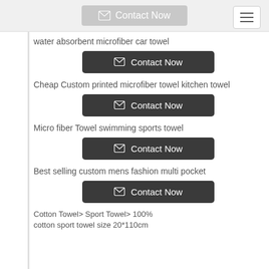Contact Now
water absorbent microfiber car towel
Contact Now
Cheap Custom printed microfiber towel kitchen towel
Contact Now
Micro fiber Towel swimming sports towel
Contact Now
Best selling custom mens fashion multi pocket
Contact Now
Cotton Towel> Sport Towel> 100% cotton sport towel size 20*110cm